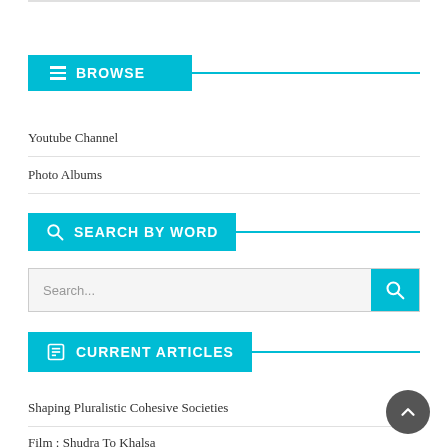BROWSE
Youtube Channel
Photo Albums
SEARCH BY WORD
Search...
CURRENT ARTICLES
Shaping Pluralistic Cohesive Societies
Film : Shudra To Khalsa